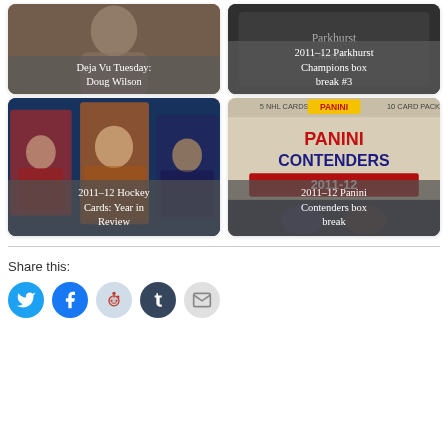[Figure (photo): Deja Vu Tuesday: Doug Wilson – hockey card/person photo with grey overlay label]
[Figure (photo): 2011-12 Parkhurst Champions box break #3 – dark card box image with grey overlay label]
[Figure (photo): 2011-12 Hockey Cards: Year in Review – collage of hockey player cards with grey overlay label]
[Figure (photo): 2011-12 Panini Contenders box break – Panini Contenders product image with grey overlay label]
Share this:
[Figure (infographic): Social sharing icons: Twitter (blue circle), Facebook (blue circle), Reddit (light blue circle), Tumblr (dark blue circle), Email (grey circle)]